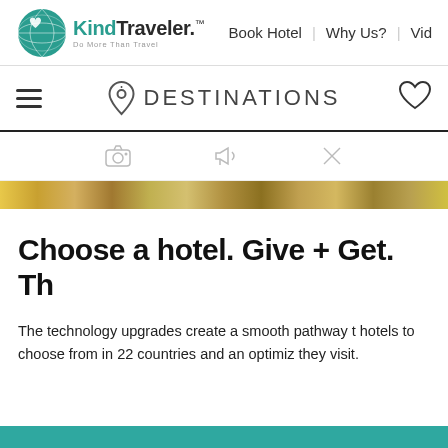[Figure (logo): KindTraveler logo with teal globe icon and text 'KindTraveler Do More Than Travel']
Book Hotel  |  Why Us?  |  Vid
DESTINATIONS
[Figure (screenshot): Partial screenshot of a KindTraveler website page showing navigation bar with hamburger menu, destinations header with map pin icon and heart icon, icon bar with camera/megaphone/X icons, a colorful image strip, main heading 'Choose a hotel. Give + Get. Th', and body text about technology upgrades.]
Choose a hotel. Give + Get. Th
The technology upgrades create a smooth pathway t hotels to choose from in 22 countries and an optimiz they visit.